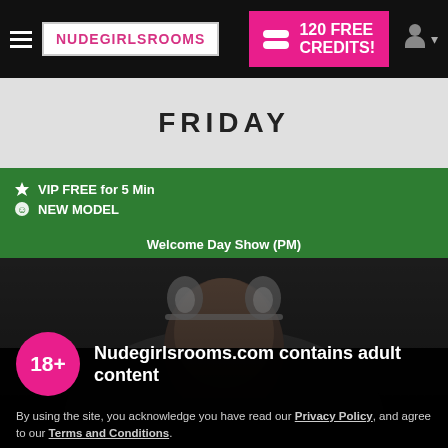NUDEGIRLSROOMS — 120 FREE CREDITS!
FRIDAY
VIP FREE for 5 Min
NEW MODEL
Welcome Day Show (PM)
[Figure (photo): Photo of a person wearing cat ears headband, dark background]
Nudegirlsrooms.com contains adult content
By using the site, you acknowledge you have read our Privacy Policy, and agree to our Terms and Conditions.
We use cookies to optimize your experience, analyze traffic, and deliver more personalized service. To learn more, please see our Privacy Policy.
I AGREE